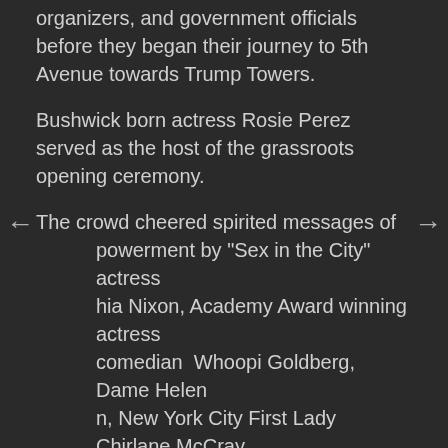organizers, and government officials before they began their journey to 5th Avenue towards Trump Towers.
Bushwick born actress Rosie Perez served as the host of the grassroots opening ceremony.
The crowd cheered spirited messages of powerment by "Sex in the City" actress hia Nixon, Academy Award winning actress comedian  Whoopi Goldberg, Dame Helen n, New York City First Lady Chirlane McCray, Senator Andrea Stewart-Cousins, Senator Liz Krueger, and Women's March NYC Chair Katherine Siemionko, among others.
A wheelchair bound Yoko Ono was also in attendance, but did not speak.
A woman's chorus high-performance and others...